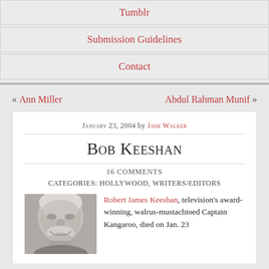Tumblr
Submission Guidelines
Contact
« Ann Miller    Abdul Rahman Munif »
January 23, 2004 by Jade Walker
Bob Keeshan
16 comments
Categories: Hollywood, Writers/Editors
[Figure (photo): Black and white portrait photo of Bob Keeshan, an elderly man with a white walrus mustache, smiling]
Robert James Keeshan, television's award-winning, walrus-mustachioed Captain Kangaroo, died on Jan. 23